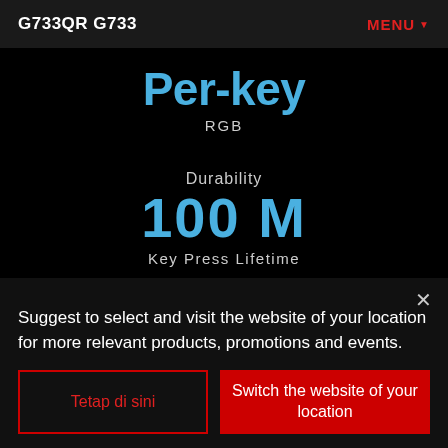G733QR G733   MENU ▼
Per-key
RGB
Durability
100 M
Key Press Lifetime
Zero Debounce Delay
Suggest to select and visit the website of your location for more relevant products, promotions and events.
Tetap di sini
Switch the website of your location